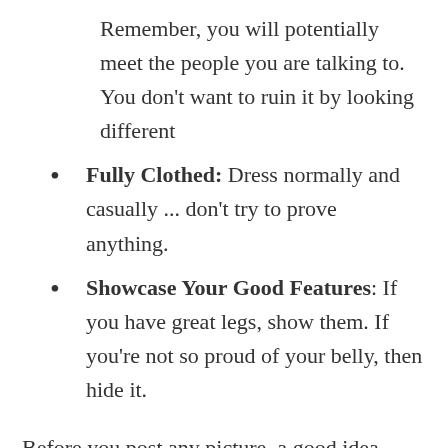Remember, you will potentially meet the people you are talking to. You don't want to ruin it by looking different
Fully Clothed: Dress normally and casually ... don't try to prove anything.
Showcase Your Good Features: If you have great legs, show them.  If you're not so proud of your belly, then hide it.
Before you post any picture, a good idea would be to send several options to your friends/family to rate which ones you look best in.  Second and third opinions are always helpful.  Remember, people